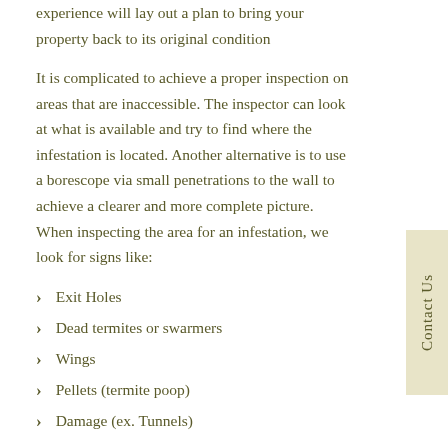experience will lay out a plan to bring your property back to its original condition
It is complicated to achieve a proper inspection on areas that are inaccessible. The inspector can look at what is available and try to find where the infestation is located. Another alternative is to use a borescope via small penetrations to the wall to achieve a clearer and more complete picture. When inspecting the area for an infestation, we look for signs like:
Exit Holes
Dead termites or swarmers
Wings
Pellets (termite poop)
Damage (ex. Tunnels)
Depending on the findings there will normally be a couple of options on how to control the problem in your walls.